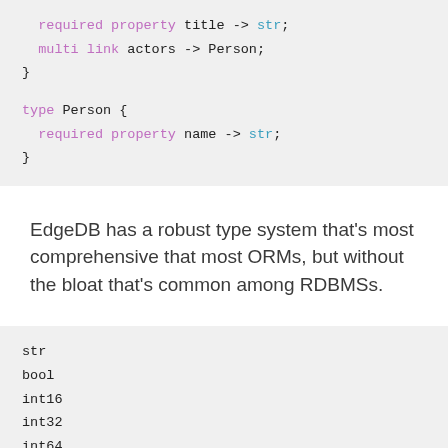[Figure (screenshot): Code block showing EdgeDB schema: required property title -> str; multi link actors -> Person; } type Person { required property name -> str; }]
EdgeDB has a robust type system that’s most comprehensive that most ORMs, but without the bloat that’s common among RDBMSs.
[Figure (screenshot): Code block listing EdgeDB scalar types: str, bool, int16, int32, int64, float32 (cut off)]